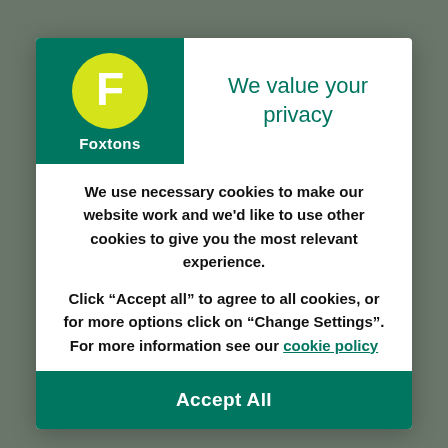[Figure (logo): Foxtons logo: yellow circle with white F on dark teal/green background, with 'Foxtons' text below in white]
We value your privacy
We use necessary cookies to make our website work and we'd like to use other cookies to give you the most relevant experience.
Click “Accept all” to agree to all cookies, or for more options click on “Change Settings”. For more information see our cookie policy